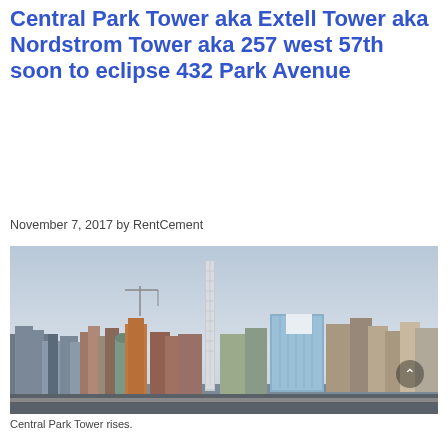Central Park Tower aka Extell Tower aka Nordstrom Tower aka 257 west 57th soon to eclipse 432 Park Avenue
November 7, 2017 by RentCement
[Figure (photo): Skyline photo of New York City showing Central Park Tower under construction rising above other skyscrapers, taken from across the water. The tall slender tower of 432 Park Avenue is also visible.]
Central Park Tower rises.